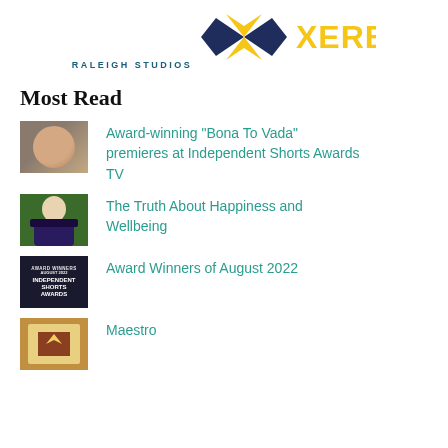[Figure (logo): Raleigh Studios logo with text 'RALEIGH STUDIOS' below an emblem (partially visible at top)]
[Figure (logo): XERB logo with yellow and dark blue X icon and yellow XERB text]
Most Read
[Figure (photo): Thumbnail of a person's face]
Award-winning "Bona To Vada" premieres at Independent Shorts Awards TV
[Figure (photo): Thumbnail of a woman with blonde hair]
The Truth About Happiness and Wellbeing
[Figure (photo): Thumbnail showing Independent Shorts Awards logo text on dark background]
Award Winners of August 2022
[Figure (photo): Thumbnail with colorful artistic image]
Maestro